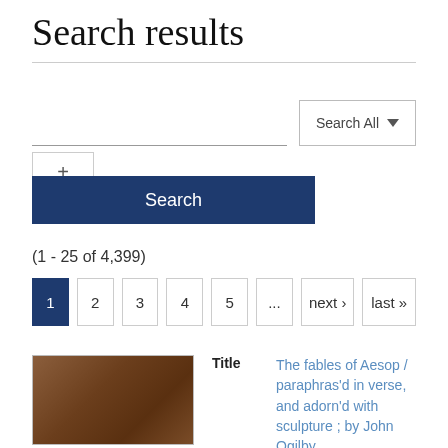Search results
[Figure (screenshot): Search interface with text input field, 'Search All' dropdown button, a '+' add button, and a blue 'Search' button]
(1 - 25 of 4,399)
[Figure (screenshot): Pagination controls: page buttons 1 (active), 2, 3, 4, 5, ..., next›, last»]
[Figure (photo): Thumbnail image of a brown book cover]
Title   The fables of Aesop / paraphras'd in verse, and adorn'd with sculpture ; by John Ogilby.